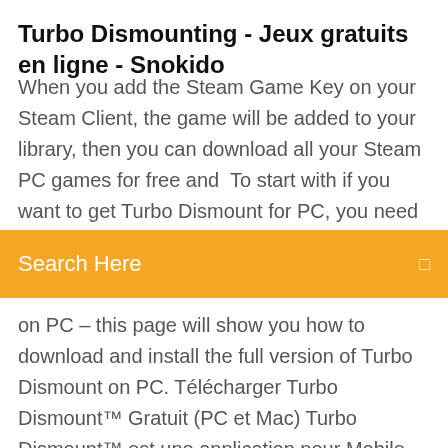Turbo Dismounting - Jeux gratuits en ligne - Snokido
When you add the Steam Game Key on your Steam Client, the game will be added to your library, then you can download all your Steam PC games for free and  To start with if you want to get Turbo Dismount for PC, you need to install an emulator for
Search Here
on PC – this page will show you how to download and install the full version of Turbo Dismount on PC. Télécharger Turbo Dismount™ Gratuit (PC et Mac) Turbo Dismount™ est une application pour Mobile (IOS et Android) de jeux de SimulationVous pouvez télécharger Turbo Dismount™ sur PC et Mac gratuitement depuis notre site web (https://www.site-de-telechargement.fr)Informations sur Turbo Dismount™ issues du Play Store de Google : Mise à jour : la dernière mise à jour date du . Nombre d'avis : il y [...] Download Turbo Dismount for PC/Turbo Dismount.